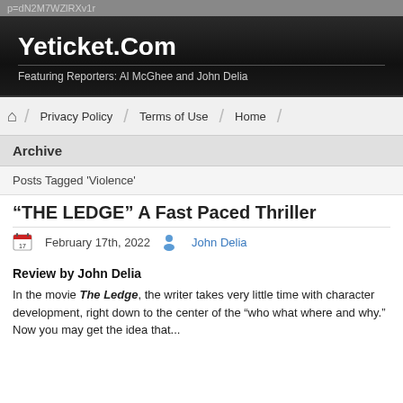p=dN2M7WZlRXv1r
Yeticket.Com
Featuring Reporters: Al McGhee and John Delia
Privacy Policy  Terms of Use  Home
Archive
Posts Tagged 'Violence'
“THE LEDGE” A Fast Paced Thriller
February 17th, 2022  John Delia
Review by John Delia
In the movie The Ledge, the writer takes very little time with character development, right down to the center of the “who what where and why.” Now you may get the idea that...